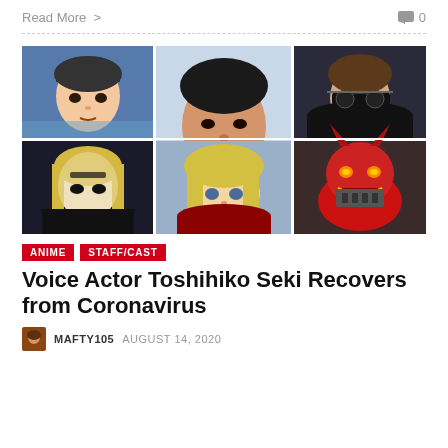Read More >   💬 0
[Figure (photo): Collage of anime character screenshots and a real photo of voice actor Toshihiko Seki in the center. Six panels: top-left anime character with headband, top-center real photo of Seki smiling, top-right anime character with sunglasses, bottom-left anime character with face paint, bottom-center anime blonde female character, bottom-right red demon/monster character.]
ANIME   STAFF/CAST
Voice Actor Toshihiko Seki Recovers from Coronavirus
MAFTY105   AUGUST 14, 2020